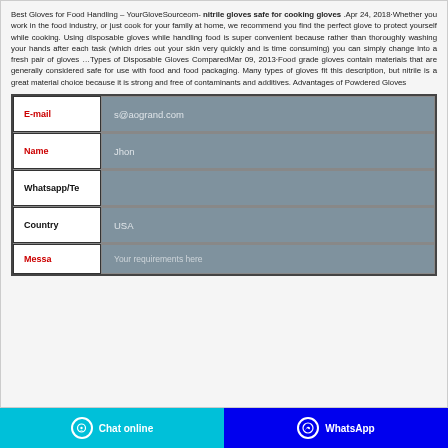Best Gloves for Food Handling – YourGloveSourceom- nitrile gloves safe for cooking gloves .Apr 24, 2018·Whether you work in the food industry, or just cook for your family at home, we recommend you find the perfect glove to protect yourself while cooking. Using disposable gloves while handling food is super convenient because rather than thoroughly washing your hands after each task (which dries out your skin very quickly and is time consuming) you can simply change into a fresh pair of gloves …Types of Disposable Gloves ComparedMar 09, 2013·Food grade gloves contain materials that are generally considered safe for use with food and food packaging. Many types of gloves fit this description, but nitrile is a great material choice because it is strong and free of contaminants and additives. Advantages of Powdered Gloves
| Label | Value |
| --- | --- |
| E-mail | s@aogrand.com |
| Name | Jhon |
| Whatsapp/Te |  |
| Country | USA |
| Message | Your requirements here |
Chat online   WhatsApp